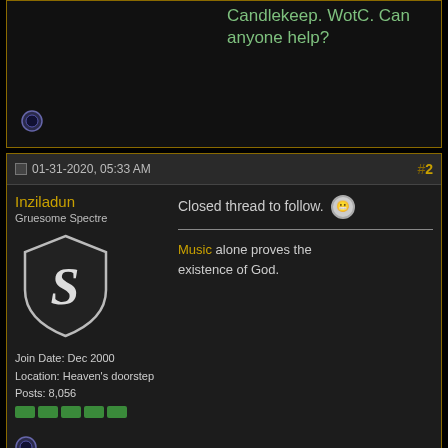Candlekeep. WotC. Can anyone help?
01-31-2020, 05:33 AM  #2
Inziladun
Gruesome Spectre
Join Date: Dec 2000
Location: Heaven's doorstep
Posts: 8,056
Closed thread to follow. [smiley]

Music alone proves the existence of God.
[Figure (illustration): Closed thread button with lock icon, blue/grey gradient button labeled Closed]
« Previous Thread | Next Thread »
Posting Rules
You may not post new threads
You may not post replies
You may not post attachments
You may not edit your posts